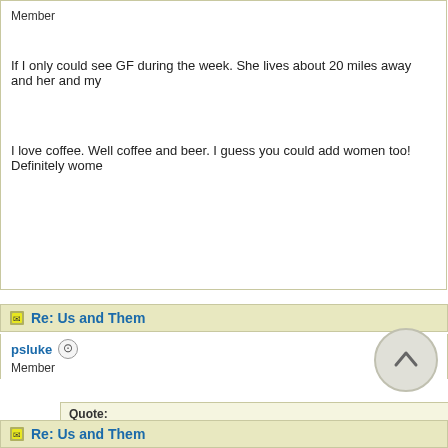Member
If I only could see GF during the week. She lives about 20 miles away and her and my
I love coffee. Well coffee and beer. I guess you could add women too! Definitely wome
Re: Us and Them
psluke
Member
Quote:
I love coffee. Well coffee and beer. I guess you could add women to
In this order??????
I wish you could see GF during the week too. That would be nice for you both I'm sure.
Re: Us and Them